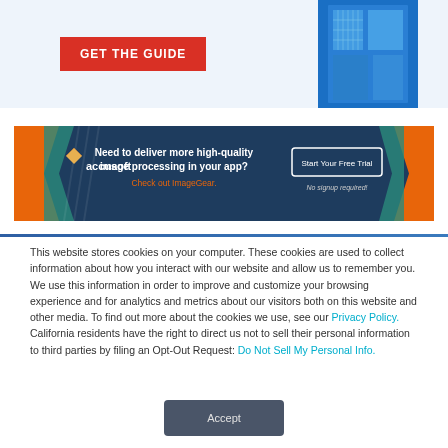[Figure (screenshot): Top banner with red 'GET THE GUIDE' button and building photo on light blue background]
[Figure (screenshot): Accusoft advertisement banner: dark blue background with orange/teal accents, logo, text 'Need to deliver more high-quality image processing in your app? Check out ImageGear.', and 'Start Your Free Trial' button with 'No signup required!']
This website stores cookies on your computer. These cookies are used to collect information about how you interact with our website and allow us to remember you. We use this information in order to improve and customize your browsing experience and for analytics and metrics about our visitors both on this website and other media. To find out more about the cookies we use, see our Privacy Policy. California residents have the right to direct us not to sell their personal information to third parties by filing an Opt-Out Request: Do Not Sell My Personal Info.